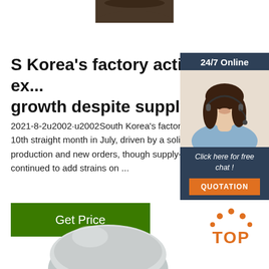[Figure (photo): Partial top image of a dark object (hat or similar) cropped at top of page]
S Korea's factory activity ex... growth despite supply ...
2021-8-2u2002·u2002South Korea's factory activ... 10th straight month in July, driven by a solid exp... production and new orders, though supply-chain ... continued to add strains on ...
[Figure (infographic): Sidebar ad with '24/7 Online' banner, a photo of a woman with headset smiling, 'Click here for free chat!' text, and an orange QUOTATION button]
Get Price
[Figure (photo): Bottom image showing a round metallic or powder container top, cropped]
[Figure (logo): Orange TOP logo with dot pattern above and text TOP below]